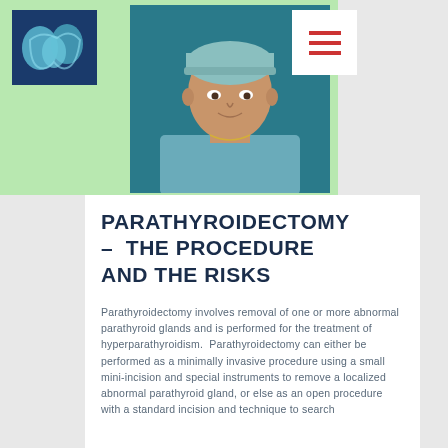[Figure (logo): Medical/dental logo with tooth-like shape on dark blue background]
[Figure (photo): Portrait photo of a male surgeon wearing teal surgical cap and scrubs, against teal background]
[Figure (other): Hamburger menu icon with three red horizontal lines on white background]
PARATHYROIDECTOMY – THE PROCEDURE AND THE RISKS
Parathyroidectomy involves removal of one or more abnormal parathyroid glands and is performed for the treatment of hyperparathyroidism.  Parathyroidectomy can either be performed as a minimally invasive procedure using a small mini-incision and special instruments to remove a localized abnormal parathyroid gland, or else as an open procedure with a standard incision and technique to search